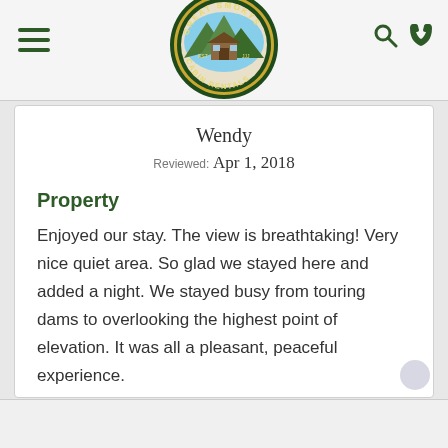Great Smokys Cabin Rentals
Wendy
Reviewed: Apr 1, 2018
Property
Enjoyed our stay. The view is breathtaking! Very nice quiet area. So glad we stayed here and added a night. We stayed busy from touring dams to overlooking the highest point of elevation. It was all a pleasant, peaceful experience.
View Property: Z-Above The Trees